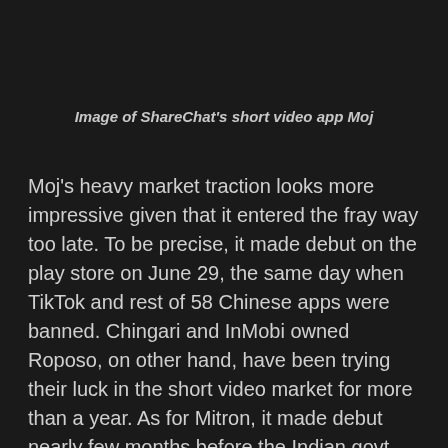Image of ShareChat's short video app Moj
Moj's heavy market traction looks more impressive given that it entered the fray way too late. To be precise, it made debut on the play store on June 29, the same day when TikTok and rest of 58 Chinese apps were banned. Chingari and InMobi owned Roposo, on other hand, have been trying their luck in the short video market for more than a year. As for Mitron, it made debut nearly few months before the Indian govt decided to ban TikTok.